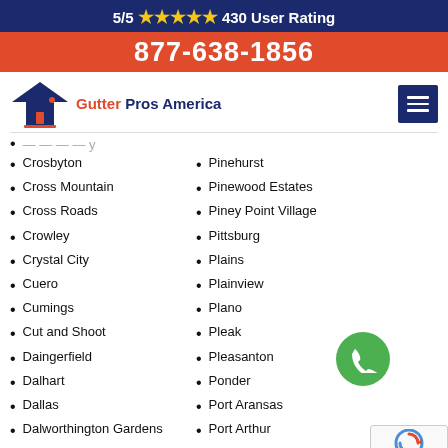5/5 ★★★★★ 430 User Rating
877-638-1856
[Figure (logo): Gutter Pros America logo with house/roof icon]
Crosbyton
Cross Mountain
Cross Roads
Crowley
Crystal City
Cuero
Cumings
Cut and Shoot
Daingerfield
Dalhart
Dallas
Dalworthington Gardens
Danbury
Pinehurst
Pinewood Estates
Piney Point Village
Pittsburg
Plains
Plainview
Plano
Pleak
Pleasanton
Ponder
Port Aransas
Port Arthur
Port Isabel